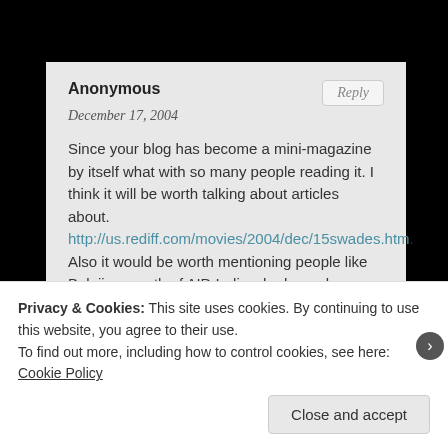Anonymous
December 17, 2004
Since your blog has become a mini-magazine by itself what with so many people reading it. I think it will be worth talking about articles about. http://us.rediff.com/movies/2004/dec/15swades.htm. Also it would be worth mentioning people like Balaji sampath of AID India who have done exactly like the Swades guy. Giving up a lucrative career in US after studying at IIT, Maryland college park.
Sorry for getting little too preachy but i do think others should really know that ‘real life swades’ shahrukhs kind do exist and that quite a few of them.
Privacy & Cookies: This site uses cookies. By continuing to use this website, you agree to their use.
To find out more, including how to control cookies, see here: Cookie Policy
Close and accept